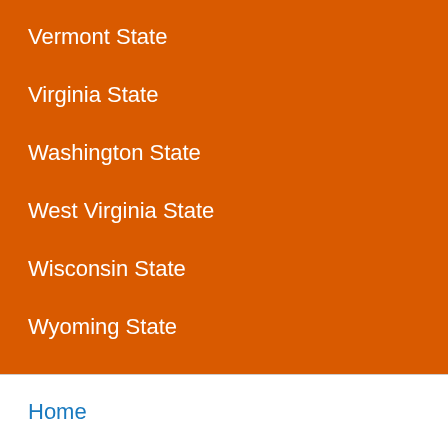Vermont State
Virginia State
Washington State
West Virginia State
Wisconsin State
Wyoming State
Home
18 US Code § 2257
Privacy Policy
Terms